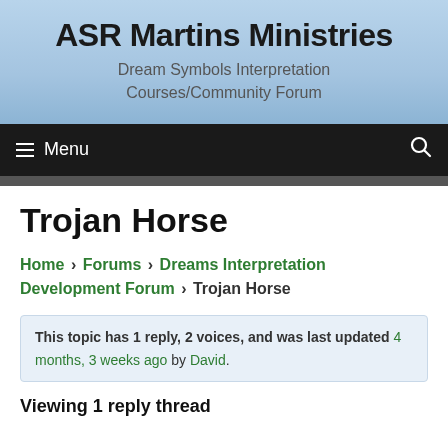ASR Martins Ministries
Dream Symbols Interpretation Courses/Community Forum
Menu
Trojan Horse
Home › Forums › Dreams Interpretation Development Forum › Trojan Horse
This topic has 1 reply, 2 voices, and was last updated 4 months, 3 weeks ago by David.
Viewing 1 reply thread